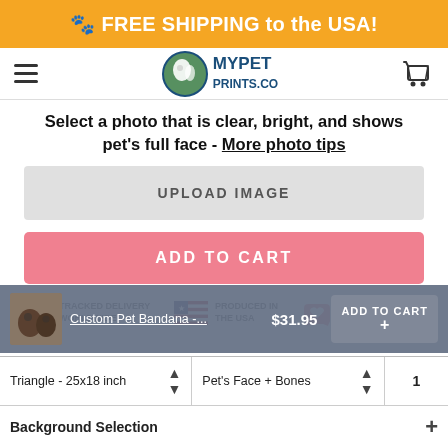🐾 FREE SHIPPING to the USA!
[Figure (logo): MyPetPrints.co logo with navigation hamburger menu and cart icon]
Select a photo that is clear, bright, and shows pet's full face - More photo tips
UPLOAD IMAGE
ADD TO CART
[Figure (infographic): Three trust badges: Tracked Delivery Worldwide, Produced in the USA, Portion of Profits Donated]
Custom Pet Bandana - ... $31.95 ADD TO CART
How it Works
Triangle - 25x18 inch | Pet's Face + Bones | 1
Background Selection